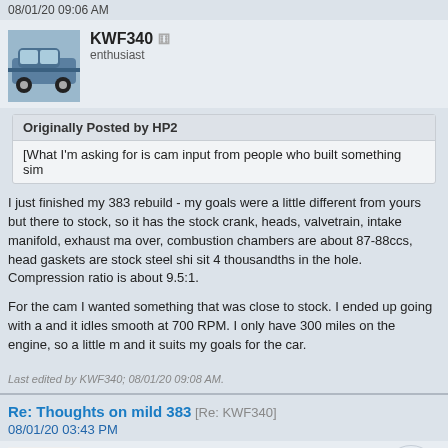08/01/20 09:06 AM
KWF340 enthusiast
Originally Posted by HP2
[What I'm asking for is cam input from people who built something sim
I just finished my 383 rebuild - my goals were a little different from yours but there to stock, so it has the stock crank, heads, valvetrain, intake manifold, exhaust ma over, combustion chambers are about 87-88ccs, head gaskets are stock steel shi sit 4 thousandths in the hole. Compression ratio is about 9.5:1.

For the cam I wanted something that was close to stock. I ended up going with a and it idles smooth at 700 RPM. I only have 300 miles on the engine, so a little m and it suits my goals for the car.
Last edited by KWF340; 08/01/20 09:08 AM.
Re: Thoughts on mild 383 [Re: KWF340]
08/01/20 03:43 PM
HP2 OP mopar